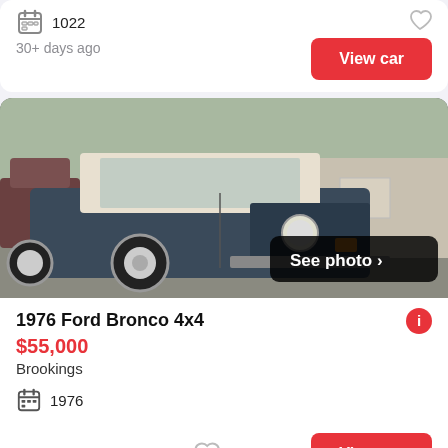1022
30+ days ago
View car
[Figure (photo): 1976 Ford Bronco 4x4 parked, dark blue/grey, front 3/4 view, with 'See photo >' overlay button]
1976 Ford Bronco 4x4
$55,000
Brookings
1976
30+ days ago
View car